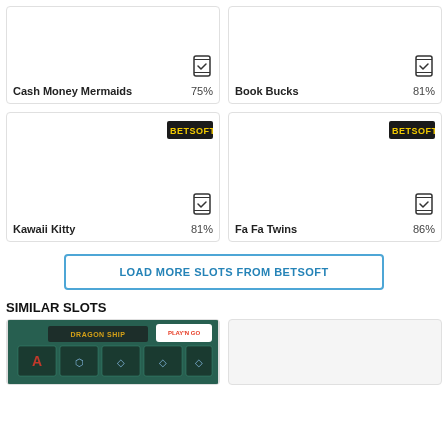[Figure (screenshot): Card for Cash Money Mermaids slot with mobile icon, title and 75% rating]
[Figure (screenshot): Card for Book Bucks slot with mobile icon, title and 81% rating]
[Figure (screenshot): Card for Kawaii Kitty slot with Betsoft logo, mobile icon, title and 81% rating]
[Figure (screenshot): Card for Fa Fa Twins slot with Betsoft logo, mobile icon, title and 86% rating]
LOAD MORE SLOTS FROM BETSOFT
SIMILAR SLOTS
[Figure (screenshot): Dragon Ship slot thumbnail with Play'n GO logo]